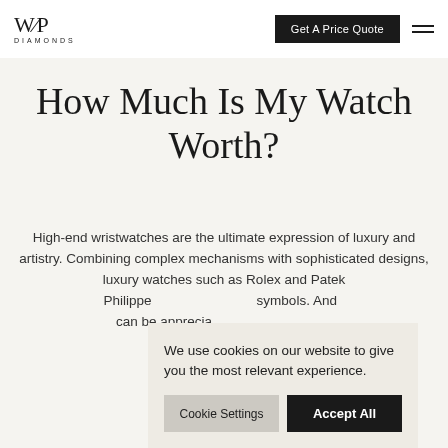WP Diamonds | Get A Price Quote
How Much Is My Watch Worth?
High-end wristwatches are the ultimate expression of luxury and artistry. Combining complex mechanisms with sophisticated designs, luxury watches such as Rolex and Patek Philippe symbols. And can be appreciated and technical
We use cookies on our website to give you the most relevant experience.
Cookie Settings | Accept All